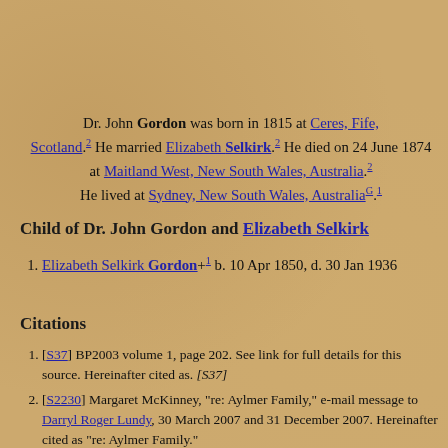Dr. John Gordon was born in 1815 at Ceres, Fife, Scotland.2 He married Elizabeth Selkirk.2 He died on 24 June 1874 at Maitland West, New South Wales, Australia.2 He lived at Sydney, New South Wales, AustraliaG.1
Child of Dr. John Gordon and Elizabeth Selkirk
1. Elizabeth Selkirk Gordon+1 b. 10 Apr 1850, d. 30 Jan 1936
Citations
1. [S37] BP2003 volume 1, page 202. See link for full details for this source. Hereinafter cited as. [S37]
2. [S2230] Margaret McKinney, "re: Aylmer Family," e-mail message to Darryl Roger Lundy, 30 March 2007 and 31 December 2007. Hereinafter cited as "re: Aylmer Family."